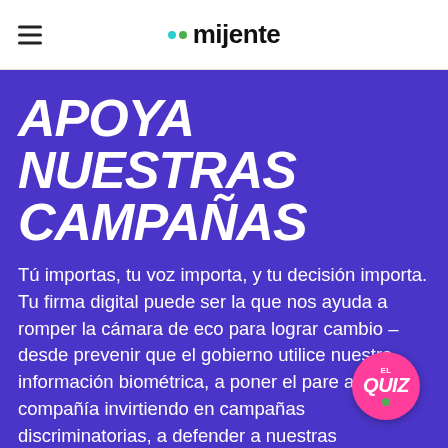mijente
APOYA NUESTRAS CAMPAÑAS
Tú importas, tu voz importa, y tu decisión importa. Tu firma digital puede ser la que nos ayuda a romper la cámara de eco para lograr cambio – desde prevenir que el gobierno utilice nuestra información biométrica, a poner el pare a una compañía invirtiendo en campañas discriminatorias, a defender a nuestras comunidades con las detenciones y las deportaciones.
[Figure (logo): El Quiz badge - circular pink badge with 'EL QUIZ' text and green dot]